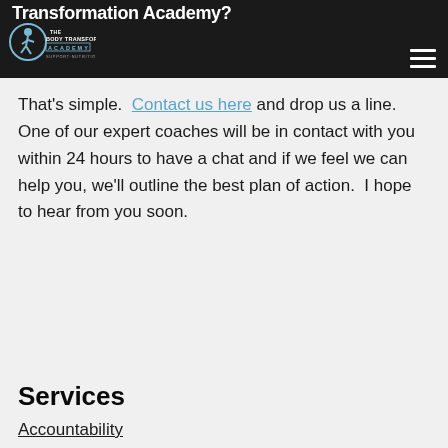Transformation Academy?
[Figure (logo): The Body Transformation Academy logo with silhouette figure and text SUPPORT·NUTRITION·SUCCESS]
That's simple.  Contact us here and drop us a line.  One of our expert coaches will be in contact with you within 24 hours to have a chat and if we feel we can help you, we'll outline the best plan of action.  I hope to hear from you soon.
Services
Accountability